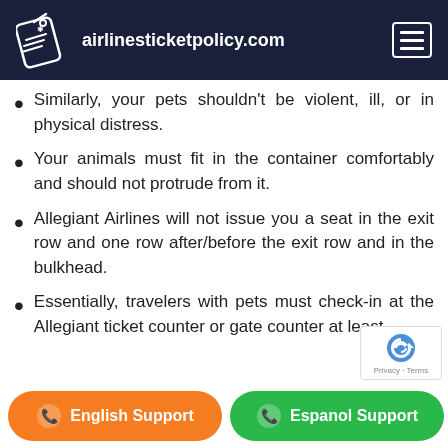airlinesticketpolicy.com
Similarly, your pets shouldn't be violent, ill, or in physical distress.
Your animals must fit in the container comfortably and should not protrude from it.
Allegiant Airlines will not issue you a seat in the exit row and one row after/before the exit row and in the bulkhead.
Essentially, travelers with pets must check-in at the Allegiant ticket counter or gate counter at least one (1)...
English Support | Espanol Support